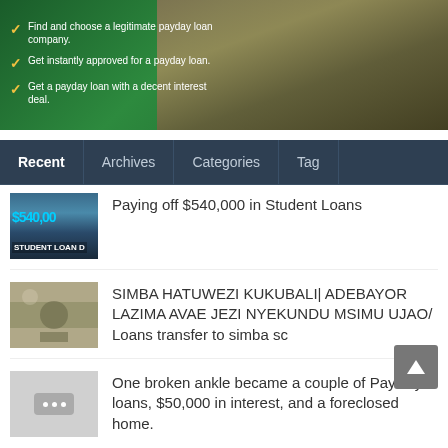[Figure (photo): Banner advertisement for payday loan with money/cash photo background and green theme, with gold checkmarks listing: Find and choose a legitimate payday loan company. Get instantly approved for a payday loan. Get a payday loan with a decent interest deal.]
Find and choose a legitimate payday loan company.
Get instantly approved for a payday loan.
Get a payday loan with a decent interest deal.
[Figure (screenshot): Navigation tab bar with four tabs: Recent (active/bold), Archives, Categories, Tag]
Paying off $540,000 in Student Loans
SIMBA HATUWEZI KUKUBALI| ADEBAYOR LAZIMA AVAE JEZI NYEKUNDU MSIMU UJAO/ Loans transfer to simba sc
One broken ankle became a couple of PayDay loans, $50,000 in interest, and a foreclosed home.